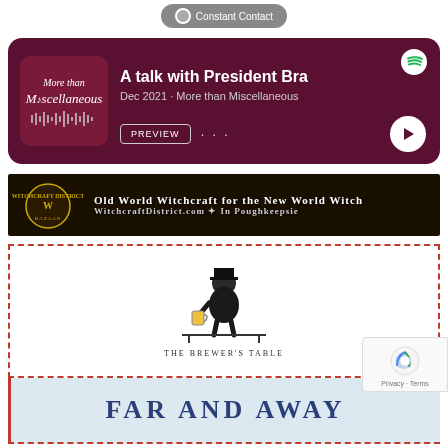[Figure (screenshot): Constant Contact button at top]
[Figure (screenshot): Spotify podcast card for 'A talk with President Bra' episode from Dec 2021, More than Miscellaneous podcast]
[Figure (logo): Witchcraft District Bazaar banner: Old World Witchcraft for the New World Witch, WitchcraftDistrict.com, In Poughkeepsie]
[Figure (logo): The Brewer's Table logo with top-hat figure holding beer mug]
FAR AND AWAY